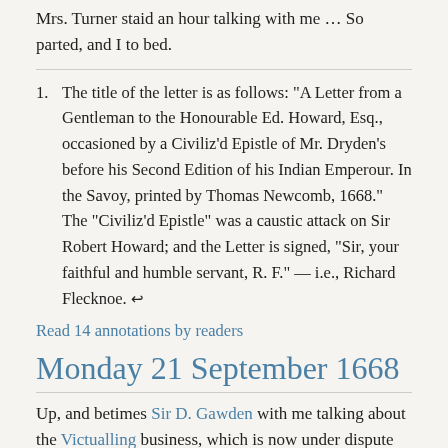Mrs. Turner staid an hour talking with me … So parted, and I to bed.
The title of the letter is as follows: “A Letter from a Gentleman to the Honourable Ed. Howard, Esq., occasioned by a Civiliz’d Epistle of Mr. Dryden’s before his Second Edition of his Indian Emperour. In the Savoy, printed by Thomas Newcomb, 1668.” The “Civiliz’d Epistle” was a caustic attack on Sir Robert Howard; and the Letter is signed, “Sir, your faithful and humble servant, R. F.” — i.e., Richard Flecknoe. ↩
Read 14 annotations by readers
Monday 21 September 1668
Up, and betimes Sir D. Gawden with me talking about the Victualling business, which is now under dispute for a new